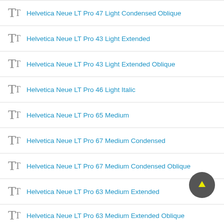Helvetica Neue LT Pro 47 Light Condensed Oblique
Helvetica Neue LT Pro 43 Light Extended
Helvetica Neue LT Pro 43 Light Extended Oblique
Helvetica Neue LT Pro 46 Light Italic
Helvetica Neue LT Pro 65 Medium
Helvetica Neue LT Pro 67 Medium Condensed
Helvetica Neue LT Pro 67 Medium Condensed Oblique
Helvetica Neue LT Pro 63 Medium Extended
Helvetica Neue LT Pro 63 Medium Extended Oblique